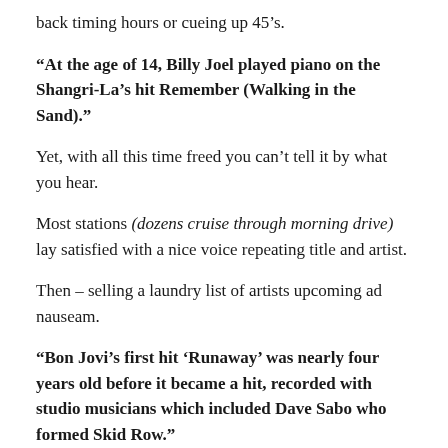back timing hours or cueing up 45’s.
“At the age of 14, Billy Joel played piano on the Shangri-La’s hit Remember (Walking in the Sand).”
Yet, with all this time freed you can’t tell it by what you hear.
Most stations (dozens cruise through morning drive) lay satisfied with a nice voice repeating title and artist.
Then – selling a laundry list of artists upcoming ad nauseam.
“Bon Jovi’s first hit ‘Runaway’ was nearly four years old before it became a hit, recorded with studio musicians which included Dave Sabo who formed Skid Row.”